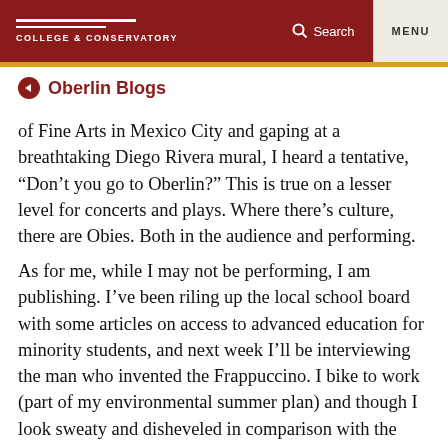COLLEGE & CONSERVATORY | Search | MENU
← Oberlin Blogs
of Fine Arts in Mexico City and gaping at a breathtaking Diego Rivera mural, I heard a tentative, “Don’t you go to Oberlin?” This is true on a lesser level for concerts and plays. Where there’s culture, there are Obies. Both in the audience and performing.
As for me, while I may not be performing, I am publishing. I’ve been riling up the local school board with some articles on access to advanced education for minority students, and next week I’ll be interviewing the man who invented the Frappuccino. I bike to work (part of my environmental summer plan) and though I look sweaty and disheveled in comparison with the